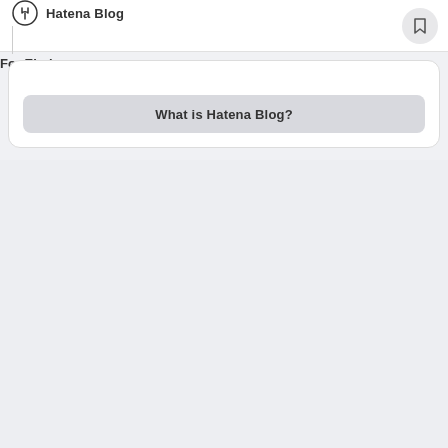Hatena Blog | For Ebola
What is Hatena Blog?